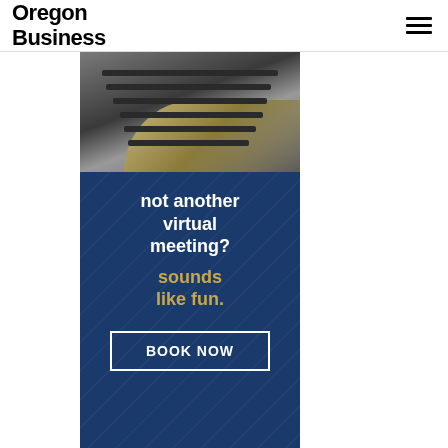Oregon Business
[Figure (illustration): Advertisement banner for a venue/conference center. Top portion shows a conference room photo with dark tables and chairs. Lower portion has a dark blue background with text 'not another virtual meeting? sounds like fun.' and a 'BOOK NOW' button. Bottom shows a partial logo arc.]